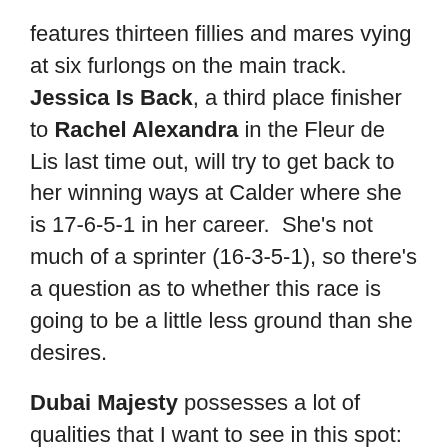features thirteen fillies and mares vying at six furlongs on the main track. Jessica Is Back, a third place finisher to Rachel Alexandra in the Fleur de Lis last time out, will try to get back to her winning ways at Calder where she is 17-6-5-1 in her career. She's not much of a sprinter (16-3-5-1), so there's a question as to whether this race is going to be a little less ground than she desires.
Dubai Majesty possesses a lot of qualities that I want to see in this spot: she's coming in off of a strong effort last time out (1st in the G3-Winning Colors), she's sports a solid record at the distance and at the track (12-5-5-0 and 8-3-2-0, respectively), she has a good amount of tactical speed
-I'm not someone that will generally question where or